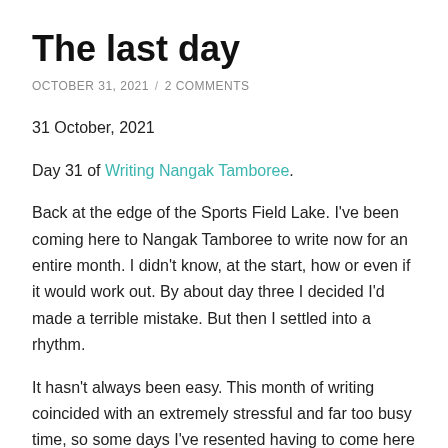The last day
OCTOBER 31, 2021 / 2 COMMENTS
31 October, 2021
Day 31 of Writing Nangak Tamboree.
Back at the edge of the Sports Field Lake. I've been coming here to Nangak Tamboree to write now for an entire month. I didn't know, at the start, how or even if it would work out. By about day three I decided I'd made a terrible mistake. But then I settled into a rhythm.
It hasn't always been easy. This month of writing coincided with an extremely stressful and far too busy time, so some days I've resented having to come here and other days my visits have been far too brief. Some